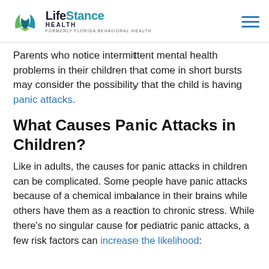[Figure (logo): LifeStance Health logo with leaf/wing icon, company name, and tagline 'FORMERLY FLORIDA BEHAVIORAL HEALTH']
Parents who notice intermittent mental health problems in their children that come in short bursts may consider the possibility that the child is having panic attacks.
What Causes Panic Attacks in Children?
Like in adults, the causes for panic attacks in children can be complicated. Some people have panic attacks because of a chemical imbalance in their brains while others have them as a reaction to chronic stress. While there’s no singular cause for pediatric panic attacks, a few risk factors can increase the likelihood: